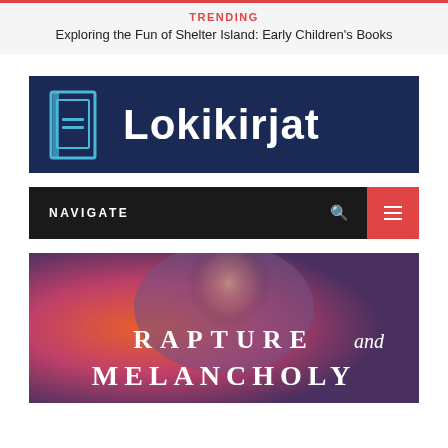TRENDING
Exploring the Fun of Shelter Island: Early Children's Books
[Figure (logo): Lokikirjat logo: dark navy blue banner with a book icon on the left and the text 'Lokikirjat' in white bold font]
NAVIGATE
[Figure (photo): Book cover showing 'RAPTURE and MELANCHOLY' text over an artistic portrait background with orange and purple tones]